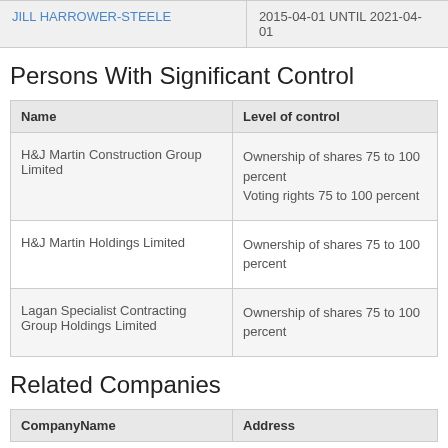|  |  |
| --- | --- |
| JILL HARROWER-STEELE | 2015-04-01 UNTIL 2021-04-01 |
Persons With Significant Control
| Name | Level of control |
| --- | --- |
| H&J Martin Construction Group Limited | Ownership of shares 75 to 100 percent
Voting rights 75 to 100 percent |
| H&J Martin Holdings Limited | Ownership of shares 75 to 100 percent |
| Lagan Specialist Contracting Group Holdings Limited | Ownership of shares 75 to 100 percent |
Related Companies
| CompanyName | Address |
| --- | --- |